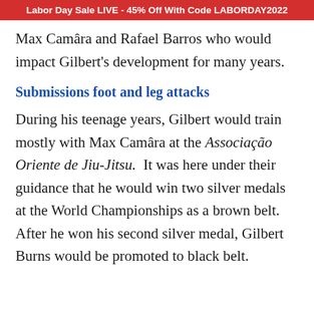Labor Day Sale LIVE - 45% Off With Code LABORDAY2022
Max Camâra and Rafael Barros who would impact Gilbert's development for many years.
Submissions foot and leg attacks
During his teenage years, Gilbert would train mostly with Max Camâra at the Associação Oriente de Jiu-Jitsu. It was here under their guidance that he would win two silver medals at the World Championships as a brown belt. After he won his second silver medal, Gilbert Burns would be promoted to black belt.